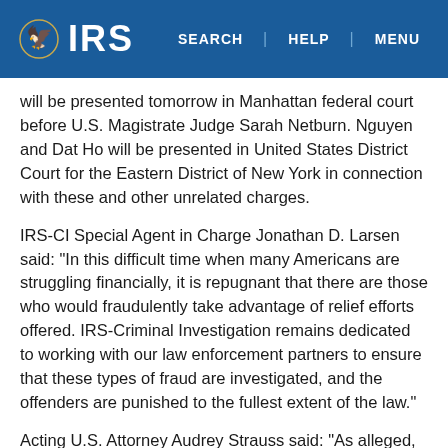IRS | SEARCH | HELP | MENU
will be presented tomorrow in Manhattan federal court before U.S. Magistrate Judge Sarah Netburn. Nguyen and Dat Ho will be presented in United States District Court for the Eastern District of New York in connection with these and other unrelated charges.
IRS-CI Special Agent in Charge Jonathan D. Larsen said: "In this difficult time when many Americans are struggling financially, it is repugnant that there are those who would fraudulently take advantage of relief efforts offered. IRS-Criminal Investigation remains dedicated to working with our law enforcement partners to ensure that these types of fraud are investigated, and the offenders are punished to the fullest extent of the law."
Acting U.S. Attorney Audrey Strauss said: "As alleged, these defendants conspired to rip off the SBA's COVID-relief small business loan program and financial institutions by lying about how many people they employed in their family business and how much they paid those employees. They allegedly exploited a program designed to provide vital